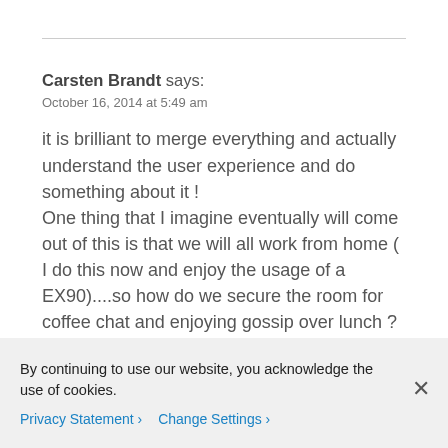Carsten Brandt says:
October 16, 2014 at 5:49 am
it is brilliant to merge everything and actually understand the user experience and do something about it ! One thing that I imagine eventually will come out of this is that we will all work from home ( I do this now and enjoy the usage of a EX90)....so how do we secure the room for coffee chat and enjoying gossip over lunch ?
By continuing to use our website, you acknowledge the use of cookies.
Privacy Statement > Change Settings >